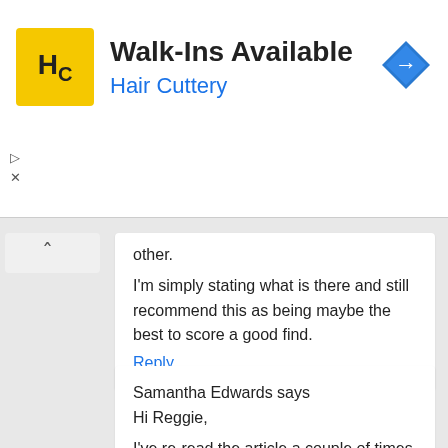[Figure (screenshot): Hair Cuttery advertisement banner. Yellow square logo with 'HC' in black. Text: 'Walk-Ins Available' in bold black, 'Hair Cuttery' in blue. Blue diamond navigation icon on right.]
other.
I'm simply stating what is there and still recommend this as being maybe the best to score a good find.
Reply
Samantha Edwards says
Hi Reggie,
I've re-read the article a couple of times now. I see no mention of African influence “causing” anything. But rather, only a